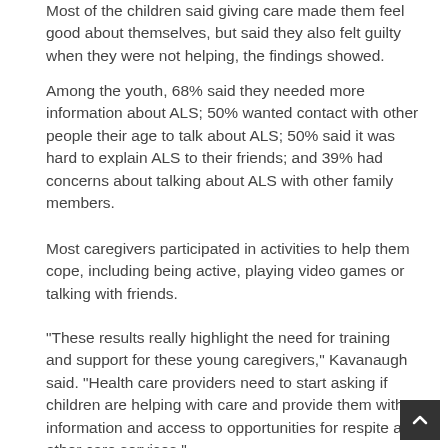Most of the children said giving care made them feel good about themselves, but said they also felt guilty when they were not helping, the findings showed.
Among the youth, 68% said they needed more information about ALS; 50% wanted contact with other people their age to talk about ALS; 50% said it was hard to explain ALS to their friends; and 39% had concerns about talking about ALS with other family members.
Most caregivers participated in activities to help them cope, including being active, playing video games or talking with friends.
"These results really highlight the need for training and support for these young caregivers," Kavanaugh said. "Health care providers need to start asking if children are helping with care and provide them with information and access to opportunities for respite and other care services."